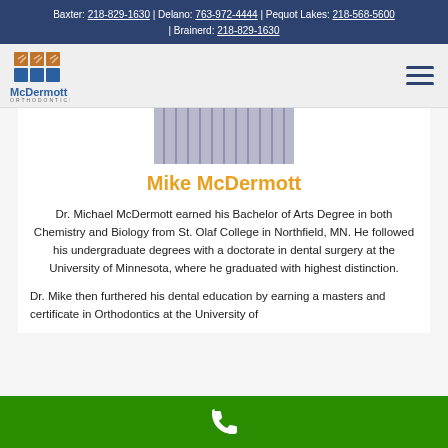Baxter: 218-829-1630 | Delano: 763-972-4444 | Pequot Lakes: 218-568-5600 | Brainerd: 218-829-1630
[Figure (logo): McDermott Orthodontics logo with colored squares and text]
[Figure (photo): Partial photo of a person in a blue striped shirt]
Mike McDermott
Dr. Michael McDermott earned his Bachelor of Arts Degree in both Chemistry and Biology from St. Olaf College in Northfield, MN. He followed his undergraduate degrees with a doctorate in dental surgery at the University of Minnesota, where he graduated with highest distinction.
Dr. Mike then furthered his dental education by earning a masters and certificate in Orthodontics at the University of